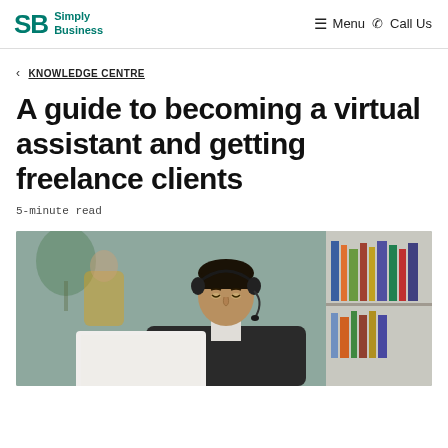SB Simply Business  ≡ Menu ☎ Call Us
< KNOWLEDGE CENTRE
A guide to becoming a virtual assistant and getting freelance clients
5-minute read
[Figure (photo): A man wearing a headset sits at a desk in front of a laptop, working in an office environment.]